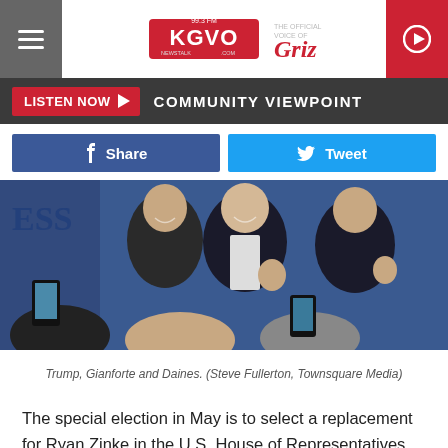KGVO Newstalk - Community Viewpoint
COMMUNITY VIEWPOINT
[Figure (photo): Three men smiling and giving thumbs up at a campaign event with blue draping in the background — Trump, Gianforte, and Daines]
Trump, Gianforte and Daines. (Steve Fullerton, Townsquare Media)
The special election in May is to select a replacement for Ryan Zinke in the U.S. House of Representatives. Zinke has